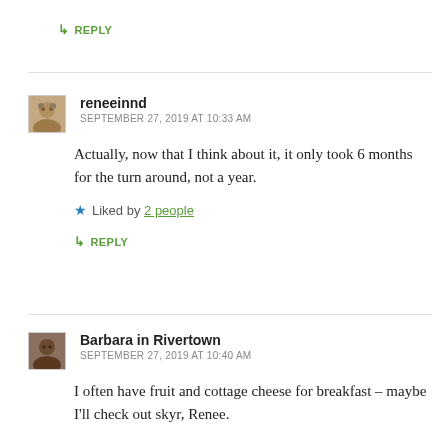↳ REPLY
reneeinnd
SEPTEMBER 27, 2019 AT 10:33 AM
Actually, now that I think about it, it only took 6 months for the turn around, not a year.
Liked by 2 people
↳ REPLY
Barbara in Rivertown
SEPTEMBER 27, 2019 AT 10:40 AM
I often have fruit and cottage cheese for breakfast – maybe I'll check out skyr, Renee.